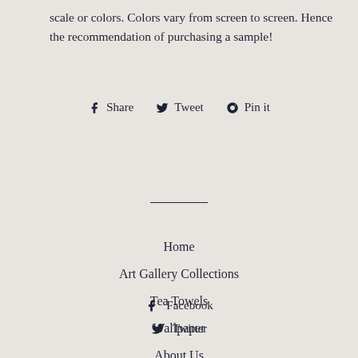scale or colors. Colors vary from screen to screen. Hence the recommendation of purchasing a sample!
Share
Tweet
Pin it
Home
Art Gallery Collections
Tea Towels
Wallpaper
About Us
Facebook
Twitter